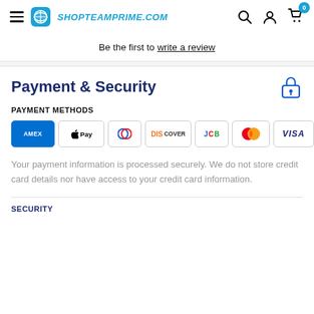SHOPTEAMPRIME.COM
Be the first to write a review
Payment & Security
PAYMENT METHODS
[Figure (other): Payment method icons: Amex, Apple Pay, Diners Club, Discover, JCB, Mastercard, Visa]
Your payment information is processed securely. We do not store credit card details nor have access to your credit card information.
SECURITY